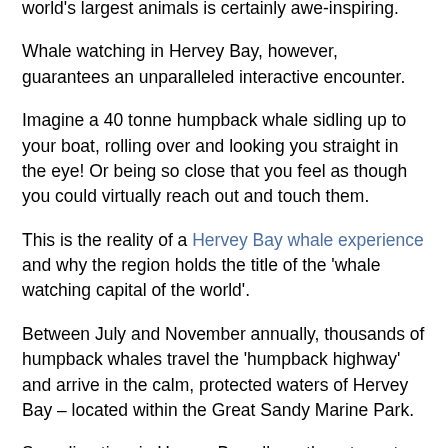world's largest animals is certainly awe-inspiring.
Whale watching in Hervey Bay, however, guarantees an unparalleled interactive encounter.
Imagine a 40 tonne humpback whale sidling up to your boat, rolling over and looking you straight in the eye! Or being so close that you feel as though you could virtually reach out and touch them.
This is the reality of a Hervey Bay whale experience and why the region holds the title of the 'whale watching capital of the world'.
Between July and November annually, thousands of humpback whales travel the 'humpback highway' and arrive in the calm, protected waters of Hervey Bay – located within the Great Sandy Marine Park.
Spending time in Hervey Bay allows them to rest, relax and socialise before continuing back to the Antarctic, where they spend the summer months feeding on krill and small fish